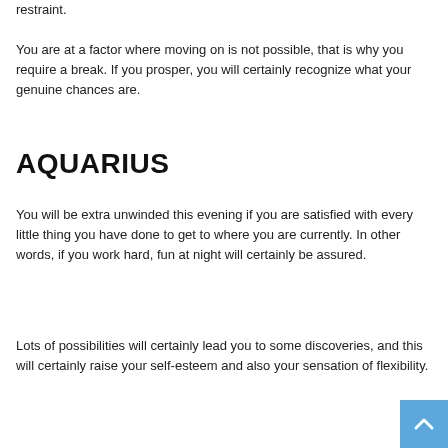restraint.
You are at a factor where moving on is not possible, that is why you require a break. If you prosper, you will certainly recognize what your genuine chances are.
AQUARIUS
You will be extra unwinded this evening if you are satisfied with every little thing you have done to get to where you are currently. In other words, if you work hard, fun at night will certainly be assured.
Lots of possibilities will certainly lead you to some discoveries, and this will certainly raise your self-esteem and also your sensation of flexibility.